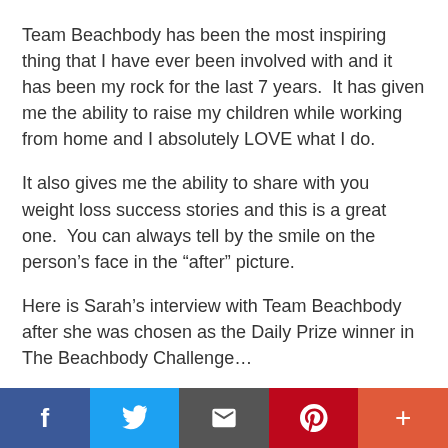Team Beachbody has been the most inspiring thing that I have ever been involved with and it has been my rock for the last 7 years.  It has given me the ability to raise my children while working from home and I absolutely LOVE what I do.
It also gives me the ability to share with you weight loss success stories and this is a great one.  You can always tell by the smile on the person's face in the “after” picture.
Here is Sarah’s interview with Team Beachbody after she was chosen as the Daily Prize winner in The Beachbody Challenge…
Tell us about your life before you started the program.
How did you feel about yourself and your body?*
f  [twitter bird]  [envelope]  p  +